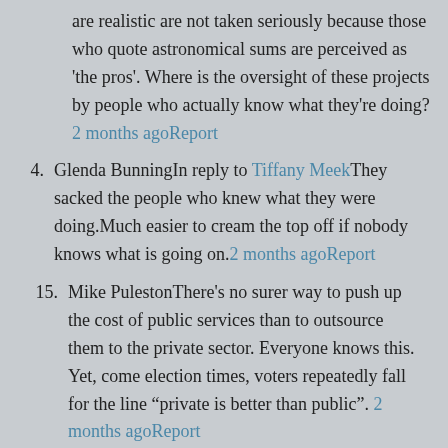are realistic are not taken seriously because those who quote astronomical sums are perceived as 'the pros'. Where is the oversight of these projects by people who actually know what they're doing?2 months agoReport
4. Glenda BunningIn reply to Tiffany MeekThey sacked the people who knew what they were doing.Much easier to cream the top off if nobody knows what is going on.2 months agoReport
15. Mike PulestonThere's no surer way to push up the cost of public services than to outsource them to the private sector. Everyone knows this. Yet, come election times, voters repeatedly fall for the line "private is better than public".2 months agoReport